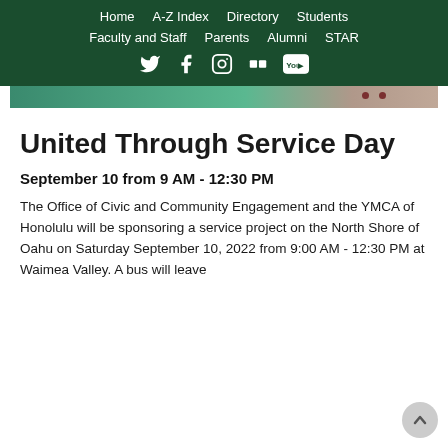Home   A-Z Index   Directory   Students   Faculty and Staff   Parents   Alumni   STAR
[Figure (screenshot): Dark green navigation bar with social media icons (Twitter, Facebook, Instagram, Flickr, YouTube) and a banner image strip below]
United Through Service Day
September 10 from 9 AM - 12:30 PM
The Office of Civic and Community Engagement and the YMCA of Honolulu will be sponsoring a service project on the North Shore of Oahu on Saturday September 10, 2022 from 9:00 AM - 12:30 PM at Waimea Valley. A bus will leave